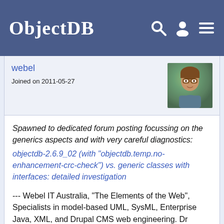ObjectDB
webel
Joined on 2011-05-27
Spawned to dedicated forum posting focussing on the generics aspects and with very careful diagnostics: objectdb-2.6.9_02 (with "objectdb.temp.no-enhancement-crc-check") vs. generic classes with interfaces: detailed investigation

--- Webel IT Australia, "The Elements of the Web", Specialists in model-based UML, SysML, Enterprise Java, XML, and Drupal CMS web engineering. Dr Darren Kelly, BSc, PhD, https://www.webel.com.au